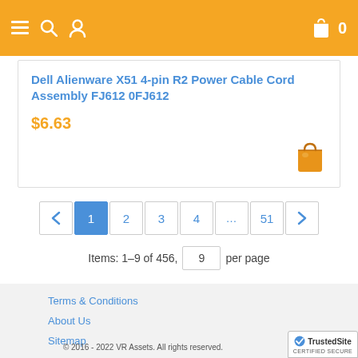Navigation header with hamburger menu, search, user icons on left; shopping bag and 0 on right
Dell Alienware X51 4-pin R2 Power Cable Cord Assembly FJ612 0FJ612
$6.63
Pagination: previous, 1 (active), 2, 3, 4, ..., 51, next
Items: 1–9 of 456,  9  per page
Terms & Conditions
About Us
Sitemap
© 2016 - 2022 VR Assets. All rights reserved.